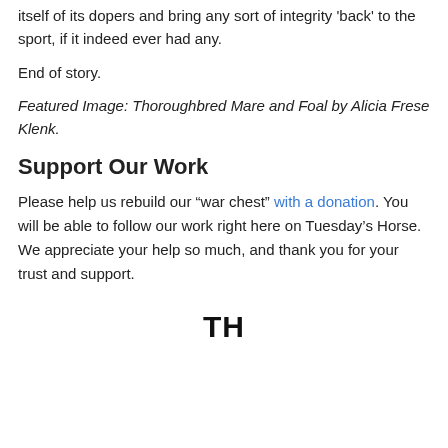itself of its dopers and bring any sort of integrity 'back' to the sport, if it indeed ever had any.
End of story.
Featured Image: Thoroughbred Mare and Foal by Alicia Frese Klenk.
Support Our Work
Please help us rebuild our “war chest” with a donation. You will be able to follow our work right here on Tuesday’s Horse. We appreciate your help so much, and thank you for your trust and support.
TH